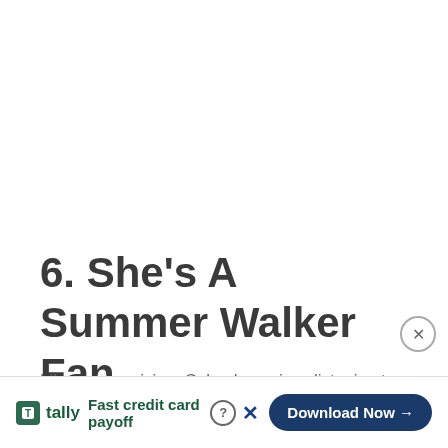6. She’s A Summer Walker Fan
Like any musician, Celu also enjoys listening to other artists work as well. She’s a big fan of Summer Walker and even sang a cover of her song, “Session 32”. In the caption of her … those
[Figure (other): Advertisement banner at bottom of page: Tally app ad with 'Fast credit card payoff' tagline and 'Download Now' button. Includes close (x) and help (?) icons.]